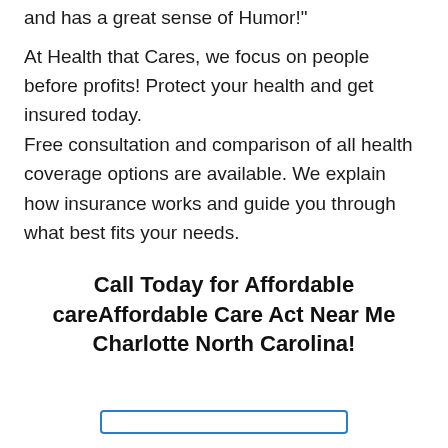and has a great sense of Humor!"
At Health that Cares, we focus on people before profits! Protect your health and get insured today. Free consultation and comparison of all health coverage options are available. We explain how insurance works and guide you through what best fits your needs.
Call Today for Affordable careAffordable Care Act Near Me Charlotte North Carolina!